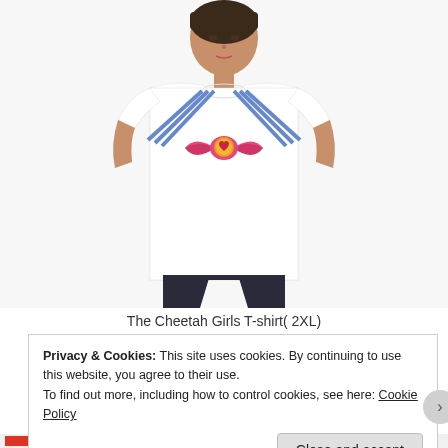[Figure (photo): A woman with short dark hair wearing a white t-shirt with a Sailor Moon-style graphic: blue sailor collar stripes and a large pink bow with a golden brooch/medallion in the center.]
The Cheetah Girls T-shirt( 2XL)
Privacy & Cookies: This site uses cookies. By continuing to use this website, you agree to their use.
To find out more, including how to control cookies, see here: Cookie Policy
Close and accept